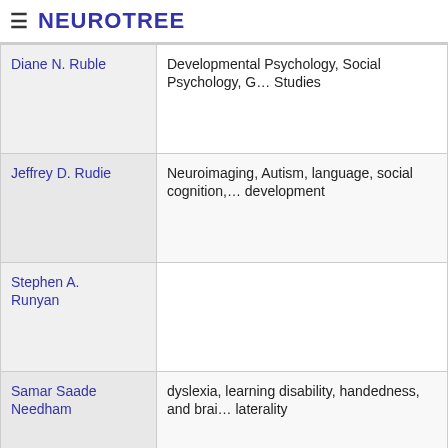≡ NEUROTREE
| Name | Research Areas |
| --- | --- |
| Diane N. Ruble | Developmental Psychology, Social Psychology, G… Studies |
| Jeffrey D. Rudie | Neuroimaging, Autism, language, social cognition,… development |
| Stephen A. Runyan |  |
| Samar Saade Needham | dyslexia, learning disability, handedness, and brai… laterality |
| Fred W. Sabb | Learning & Memory, Neuroimaging |
| Sufia Sadaf | Fly visual system neuromodulation, Fly flight neur… circuit function/development, Go signaling mech… |